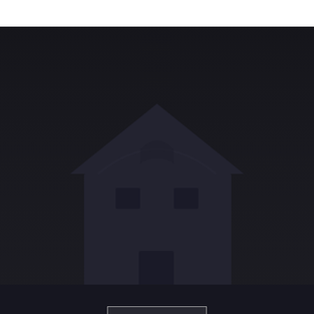[Figure (photo): Dark background hero section with a faint house/barndominium silhouette visible in the background]
Let's Build Something Incredible
What are you waiting for? Call Oklahoma Barndominium Pros and start building your dream home!